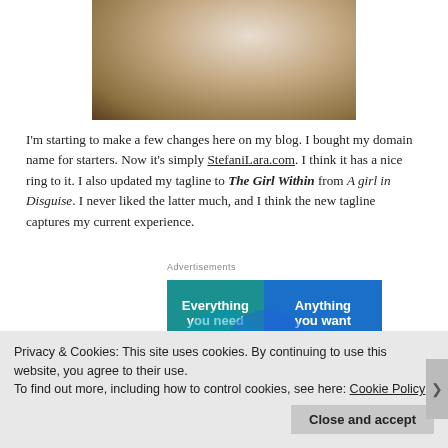[Figure (photo): Top portion of a photo showing fabric or clothing, cropped at the top of the page]
I'm starting to make a few changes here on my blog. I bought my domain name for starters. Now it's simply StefaniLara.com. I think it has a nice ring to it. I also updated my tagline to The Girl Within from A girl in Disguise. I never liked the latter much, and I think the new tagline captures my current experience.
[Figure (screenshot): WordPress.com advertisement showing a Venn diagram with 'Everything you need' on the left in teal and 'Anything you want' on the right in blue, with overlapping circles and a pink button at the bottom left, WordPress.com logo at bottom right]
Advertisements
Privacy & Cookies: This site uses cookies. By continuing to use this website, you agree to their use.
To find out more, including how to control cookies, see here: Cookie Policy
Close and accept